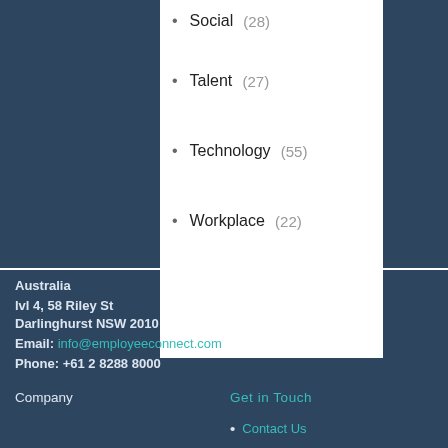Social (28)
Talent (27)
Technology (55)
Workplace (22)
Australia
lvl 4, 58 Riley St
Darlinghurst NSW 2010
Email: info@employeeconnect.com
Phone: +61 2 8288 8000
Company
Get in Touch
Contact Us